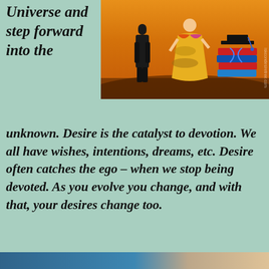[Figure (photo): A colorful illustration/photo showing a man in a suit, a woman in traditional Indian dress, and a stack of books with a graduation cap, set against a sunset sky background.]
Universe and step forward into the unknown. Desire is the catalyst to devotion. We all have wishes, intentions, dreams, etc. Desire often catches the ego – when we stop being devoted. As you evolve you change, and with that, your desires change too.
Privacy & Cookies: This site uses cookies. By continuing to use this website, you agree to their use.
To find out more, including how to control cookies, see here:
Cookie Policy
Close and accept